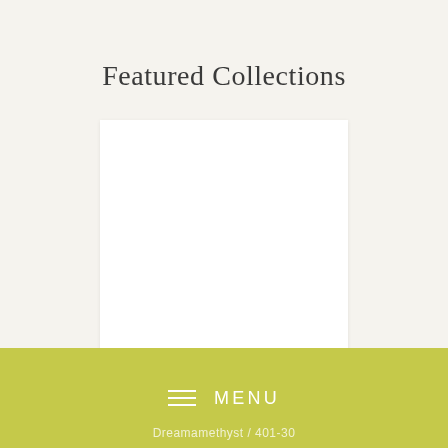Featured Collections
[Figure (photo): White product image placeholder box for Crystal Water Bottle]
Crystal Water Bottle
≡  MENU
Dreamamethyst / 401-30